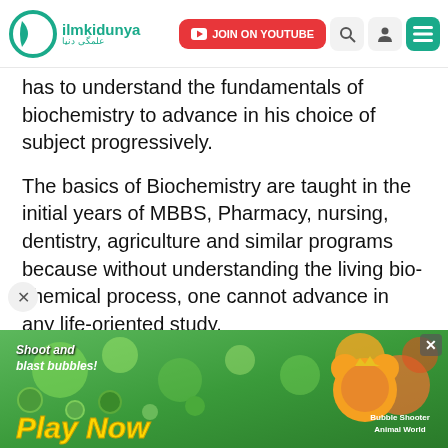ilmkidunya — JOIN ON YOUTUBE (nav bar)
has to understand the fundamentals of biochemistry to advance in his choice of subject progressively.
The basics of Biochemistry are taught in the initial years of MBBS, Pharmacy, nursing, dentistry, agriculture and similar programs because without understanding the living bio-chemical process, one cannot advance in any life-oriented study.
Best International Destinations to study Biochemistry:
With the advent and advancement of global Biotechnological studies, the scope of biochemistry has reached a great height .Foreign universities are highly
[Figure (screenshot): Advertisement banner: green background game ad with 'Shoot and blast bubbles!' text, 'Play Now' in yellow, and game character. Bubble Shooter Animal World.]